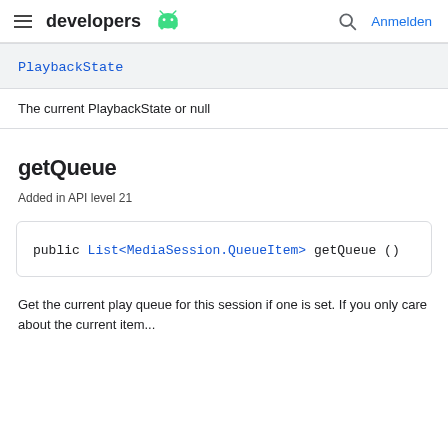developers | Anmelden
| PlaybackState |
| --- |
| The current PlaybackState or null |
getQueue
Added in API level 21
public List<MediaSession.QueueItem> getQueue ()
Get the current play queue for this session if one is set. If you only care about the current item...